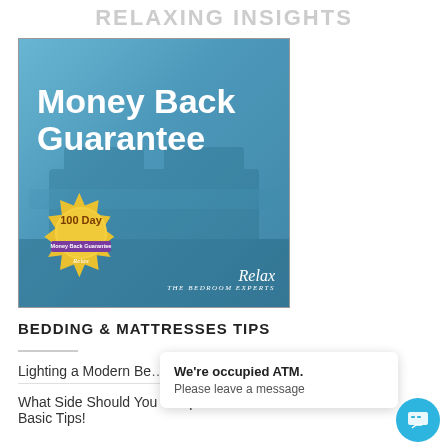RELAXING INSIGHTS
[Figure (illustration): Promotional image with blue bedroom background showing 'Money Back Guarantee' text in white, a gold seal badge reading '100 Day Money Back Guarantee Relax', and the Relax The Bedroom Experts logo in the bottom right corner.]
BEDDING & MATTRESSES TIPS
Lighting a Modern Be…
What Side Should You Sleep On – Some Basic Tips!
We're occupied ATM. Please leave a message